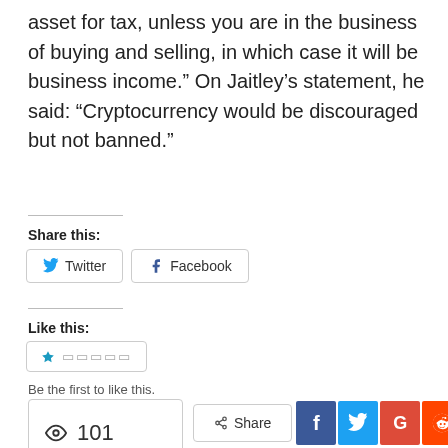asset for tax, unless you are in the business of buying and selling, in which case it will be business income.” On Jaitley’s statement, he said: “Cryptocurrency would be discouraged but not banned.”
Share this:
[Figure (screenshot): Twitter and Facebook share buttons]
Like this:
[Figure (screenshot): Like button with star icon and placeholder text]
Be the first to like this.
[Figure (screenshot): Views counter box showing eye icon and 101]
[Figure (screenshot): Bottom share row with Share button and social media icons: Facebook, Twitter, Google+, Reddit, WhatsApp, plus, and up arrow]